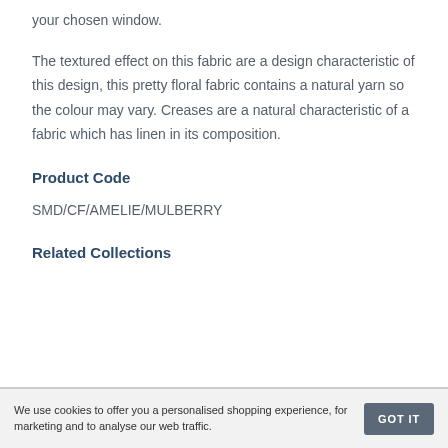your chosen window.
The textured effect on this fabric are a design characteristic of this design, this pretty floral fabric contains a natural yarn so the colour may vary. Creases are a natural characteristic of a fabric which has linen in its composition.
Product Code
SMD/CF/AMELIE/MULBERRY
Related Collections
We use cookies to offer you a personalised shopping experience, for marketing and to analyse our web traffic.